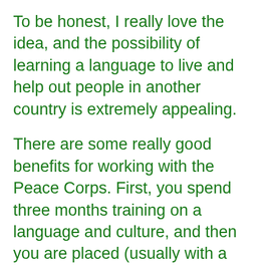To be honest, I really love the idea, and the possibility of learning a language to live and help out people in another country is extremely appealing.
There are some really good benefits for working with the Peace Corps. First, you spend three months training on a language and culture, and then you are placed (usually with a family) in another country to live and work for two years. It's mostly volunteer work. The government pays you a stipend to live off of, based on the cost of living in the country you're sent. Then, after completing the full two years of service, each volunteer is given $6,000.